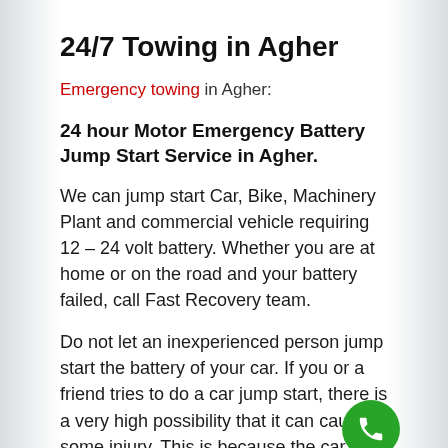24/7 Towing in Agher
Emergency towing in Agher:
24 hour Motor Emergency Battery Jump Start Service in Agher.
We can jump start Car, Bike, Machinery Plant and commercial vehicle requiring 12 – 24 volt battery. Whether you are at home or on the road and your battery failed, call Fast Recovery team.
Do not let an inexperienced person jump start the battery of your car. If you or a friend tries to do a car jump start, there is a very high possibility that it can cause some injury. This is because the car batteries is